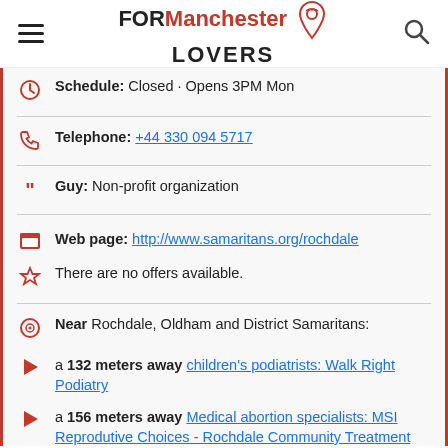FOR Manchester LOVERS
Schedule: Closed · Opens 3PM Mon
Telephone: +44 330 094 5717
Guy: Non-profit organization
Web page: http://www.samaritans.org/rochdale
There are no offers available.
Near Rochdale, Oldham and District Samaritans:
a 132 meters away children's podiatrists: Walk Right Podiatry
a 156 meters away Medical abortion specialists: MSI Reprodutive Choices - Rochdale Community Treatment Centre
a 176 meters away musical theaters in: The Curtain